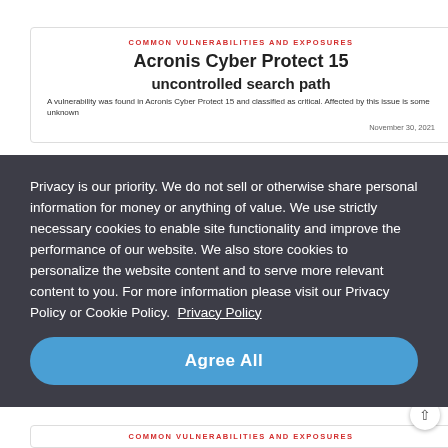COMMON VULNERABILITIES AND EXPOSURES
Acronis Cyber Protect 15
uncontrolled search path
A vulnerability was found in Acronis Cyber Protect 15 and classified as critical. Affected by this issue is some unknown
November 30, 2021
Privacy is our priority. We do not sell or otherwise share personal information for money or anything of value. We use strictly necessary cookies to enable site functionality and improve the performance of our website. We also store cookies to personalize the website content and to serve more relevant content to you. For more information please visit our Privacy Policy or Cookie Policy.  Privacy Policy
Agree All
COMMON VULNERABILITIES AND EXPOSURES